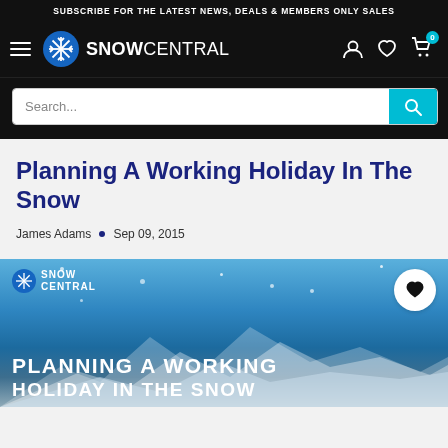SUBSCRIBE FOR THE LATEST NEWS, DEALS & MEMBERS ONLY SALES
[Figure (logo): Snow Central logo with snowflake icon and hamburger menu in black navigation bar]
[Figure (screenshot): Search bar with 'Search...' placeholder and teal search button]
Planning A Working Holiday In The Snow
James Adams  •  Sep 09, 2015
[Figure (photo): Hero image showing snowy mountain landscape with Snow Central logo overlay and text 'PLANNING A WORKING HOLIDAY IN THE SNOW']